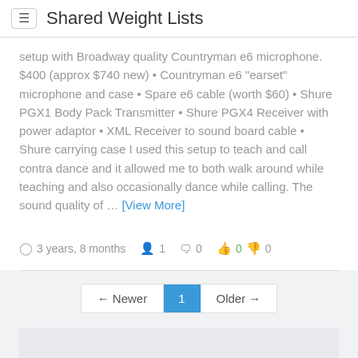Shared Weight Lists
setup with Broadway quality Countryman e6 microphone. $400 (approx $740 new) • Countryman e6 "earset" microphone and case • Spare e6 cable (worth $60) • Shure PGX1 Body Pack Transmitter • Shure PGX4 Receiver with power adaptor • XML Receiver to sound board cable • Shure carrying case I used this setup to teach and call contra dance and it allowed me to both walk around while teaching and also occasionally dance while calling. The sound quality of … [View More]
3 years, 8 months  1  0  0 0
← Newer  1  Older →